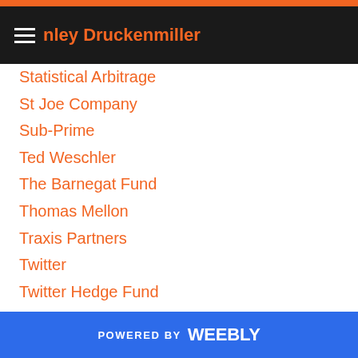Stanley Druckenmiller
Statistical Arbitrage
St Joe Company
Sub-Prime
Ted Weschler
The Barnegat Fund
Thomas Mellon
Traxis Partners
Twitter
Twitter Hedge Fund
Valeant
ValueAct
Value Investing
Vanderbilt
VHCP Management
Victor Niederhoffer
POWERED BY weebly